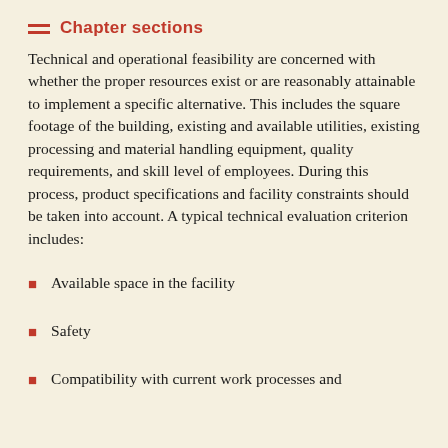Chapter sections
Technical and operational feasibility are concerned with whether the proper resources exist or are reasonably attainable to implement a specific alternative. This includes the square footage of the building, existing and available utilities, existing processing and material handling equipment, quality requirements, and skill level of employees. During this process, product specifications and facility constraints should be taken into account. A typical technical evaluation criterion includes:
Available space in the facility
Safety
Compatibility with current work processes and